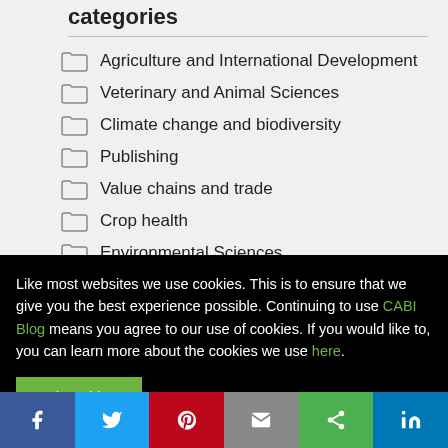categories
Agriculture and International Development
Veterinary and Animal Sciences
Climate change and biodiversity
Publishing
Value chains and trade
Crop health
Environmental Sciences
Human Sciences
Tourism, Hospitality and Leisure
Like most websites we use cookies. This is to ensure that we give you the best experience possible. Continuing to use CABI Blog means you agree to our use of cookies. If you would like to, you can learn more about the cookies we use here.